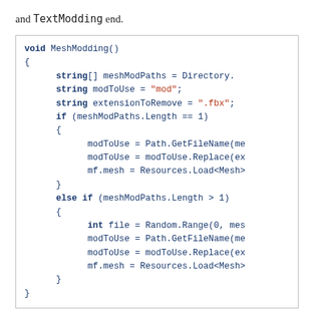and TextModding end.
[Figure (screenshot): Code block showing MeshModding() function in C# with string variables, if/else if conditions, and calls to Directory, Path.GetFileName, Replace, and Resources.Load<Mesh>.]
The basic idea is still intact, but the execution is somewhat different. Notice the two additional string